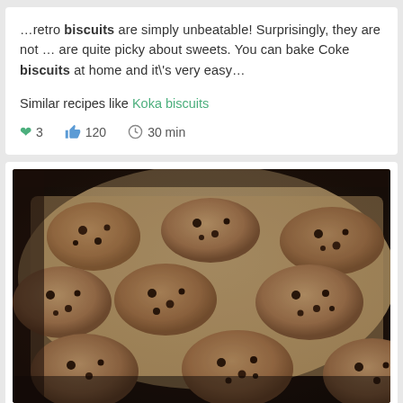...retro biscuits are simply unbeatable! Surprisingly, they are not ... are quite picky about sweets. You can bake Coke biscuits at home and it's very easy...
Similar recipes like Koka biscuits
3   120   30 min
[Figure (photo): Chocolate chip cookies/biscuits arranged on a baking tray lined with parchment paper, photographed from a low angle]